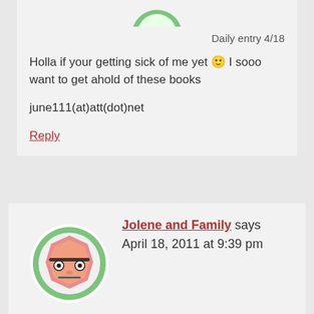Daily entry 4/18
Holla if your getting sick of me yet 🙂 I sooo want to get ahold of these books
june111(at)att(dot)net
Reply
[Figure (illustration): Avatar icon of Jolene and Family - a cartoon character with glasses on a green circular background]
Jolene and Family says April 18, 2011 at 9:39 pm